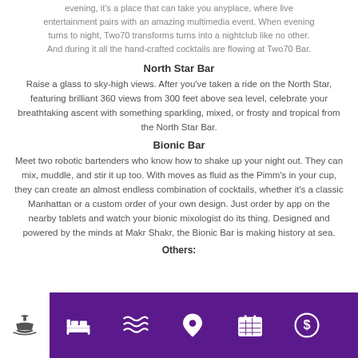evening, it's a place that can take you anyplace, where live entertainment pairs with an amazing multimedia event. When evening turns to night, Two70 transforms turns into a nightclub like no other. And during it all the hand-crafted cocktails are flowing at Two70 Bar.
North Star Bar
Raise a glass to sky-high views. After you've taken a ride on the North Star, featuring brilliant 360 views from 300 feet above sea level, celebrate your breathtaking ascent with something sparkling, mixed, or frosty and tropical from the North Star Bar.
Bionic Bar
Meet two robotic bartenders who know how to shake up your night out. They can mix, muddle, and stir it up too. With moves as fluid as the Pimm's in your cup, they can create an almost endless combination of cocktails, whether it's a classic Manhattan or a custom order of your own design. Just order by app on the nearby tablets and watch your bionic mixologist do its thing. Designed and powered by the minds at Makr Shakr, the Bionic Bar is making history at sea.
Others:
[Figure (other): Navigation bar with ship icon and purple icons for bed/accommodation, waves, location pin, calendar, and dollar sign]